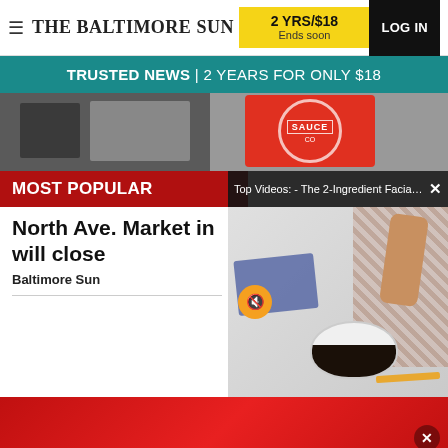THE BALTIMORE SUN
2 YRS/$18 Ends soon
LOG IN
TRUSTED NEWS | 2 YEARS FOR ONLY $18
[Figure (photo): Storefront photo showing a brick building and a red sauce company banner/sign]
MOST POPULAR
Top Videos: - The 2-Ingredient Facial Sc...
[Figure (screenshot): Video overlay thumbnail showing a cooking video with a person mixing ingredients in a bowl]
North Ave. Market in will close
Baltimore Sun
[Figure (photo): Red advertisement band]
ADVERTISEMENT
[Figure (photo): The original BERGERS advertisement with American flag and letter circles]